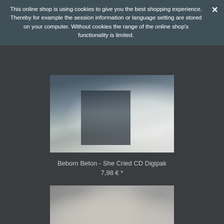This online shop is using cookies to give you the best shopping experience. Thereby for example the session information or language setting are stored on your computer. Without cookies the range of the online shop's functionality is limited.
[Figure (photo): Product photo for Beborn Beton - She Cried CD Digipak, showing a person in dark clothing against a light background]
Beborn Beton - She Cried CD Digipak
7,98 € *
[Figure (photo): Black and white photo of a bald man with glasses and beard, appears as a double exposure or mirrored image]